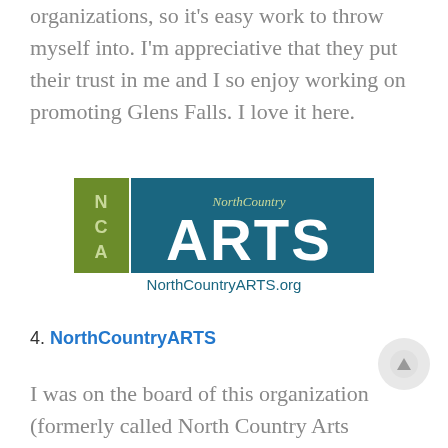organizations, so it's easy work to throw myself into. I'm appreciative that they put their trust in me and I so enjoy working on promoting Glens Falls. I love it here.
[Figure (logo): NorthCountryARTS logo: olive green vertical bar with NCA letters, teal rectangle with 'NorthCountry ARTS' text, and 'NorthCountryARTS.org' below]
4. NorthCountryARTS
I was on the board of this organization (formerly called North Country Arts Center) for